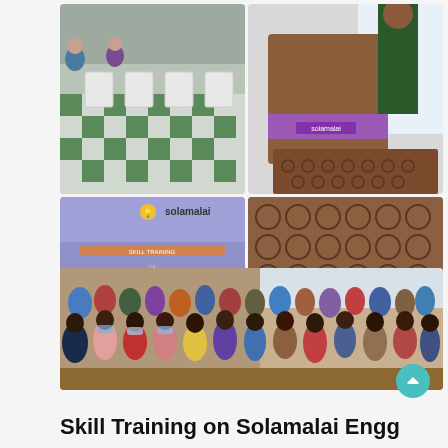[Figure (photo): Top-left photo: classroom or hall with white plastic chairs arranged on a green and white checkered floor, with people seated]
[Figure (photo): Top-right photo: person standing at a brown podium/lectern with Solamalai branding]
[Figure (photo): Middle-left photo: event banner/slide showing Solamalai logo, skill training program, speaker Mr. Sathesh S, Great Mindss branding]
[Figure (photo): Bottom wide photo: large audience of students and attendees seated in rows, wearing masks, in a hall]
Skill Training on Solamalai Engg